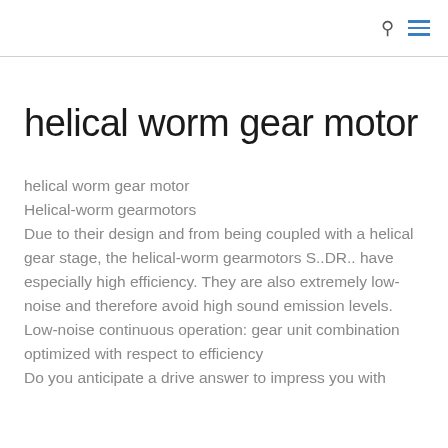🔍 ≡
helical worm gear motor
helical worm gear motor
Helical-worm gearmotors
Due to their design and from being coupled with a helical gear stage, the helical-worm gearmotors S..DR.. have especially high efficiency. They are also extremely low-noise and therefore avoid high sound emission levels.
Low-noise continuous operation: gear unit combination optimized with respect to efficiency
Do you anticipate a drive answer to impress you with